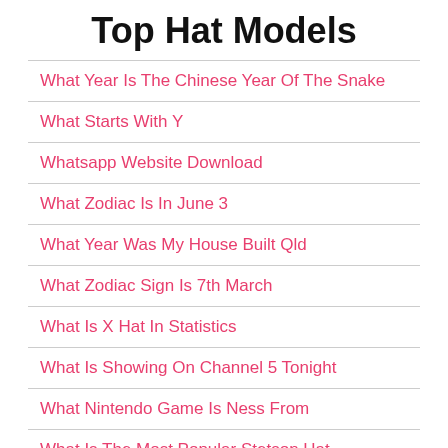Top Hat Models
What Year Is The Chinese Year Of The Snake
What Starts With Y
Whatsapp Website Download
What Zodiac Is In June 3
What Year Was My House Built Qld
What Zodiac Sign Is 7th March
What Is X Hat In Statistics
What Is Showing On Channel 5 Tonight
What Nintendo Game Is Ness From
What Is The Most Popular Stetson Hat
What Is The Best Fabric Protector Spray